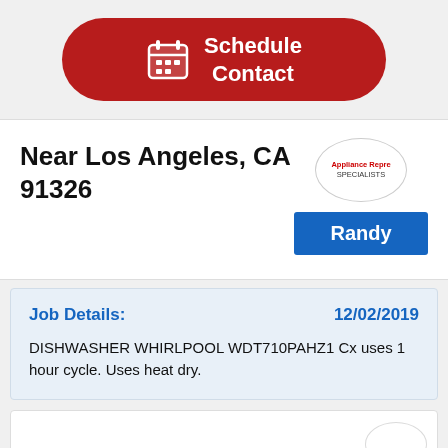[Figure (other): Red rounded button with calendar icon and text 'Schedule Contact']
Near Los Angeles, CA 91326
[Figure (logo): Appliance Repair Specialists logo in a circle]
Randy
Job Details:
12/02/2019
DISHWASHER WHIRLPOOL WDT710PAHZ1 Cx uses 1 hour cycle. Uses heat dry.